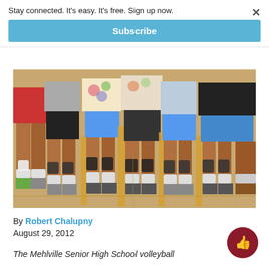Stay connected. It's easy. It's free. Sign up now.
Subscribe
[Figure (photo): Group photo showing the lower bodies of several young volleyball players wearing shorts and knee pads, standing together in a gymnasium]
By Robert Chalupny
August 29, 2012
The Mehlville Senior High School volleyball...